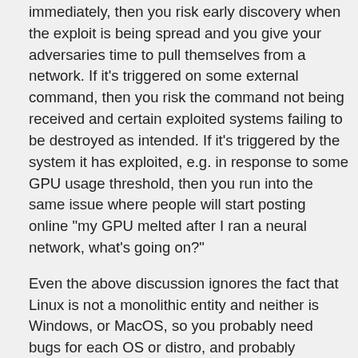immediately, then you risk early discovery when the exploit is being spread and you give your adversaries time to pull themselves from a network. If it's triggered on some external command, then you risk the command not being received and certain exploited systems failing to be destroyed as intended. If it's triggered by the system it has exploited, e.g. in response to some GPU usage threshold, then you run into the same issue where people will start posting online "my GPU melted after I ran a neural network, what's going on?"
Even the above discussion ignores the fact that Linux is not a monolithic entity and neither is Windows, or MacOS, so you probably need bugs for each OS or distro, and probably separate versions, and you're soon looking at hundreds of different exploits all of which need to be orchestrated at the same time to avoid early detection / avoidance by your adversaries. Add in the need to target specific libraries and you've got even more exploits to deal with, but that's still assuming that your adversaries use the public versions of libraries, vs using internal forks or private code entirely.
This isn't even getting into the most pressing problem of